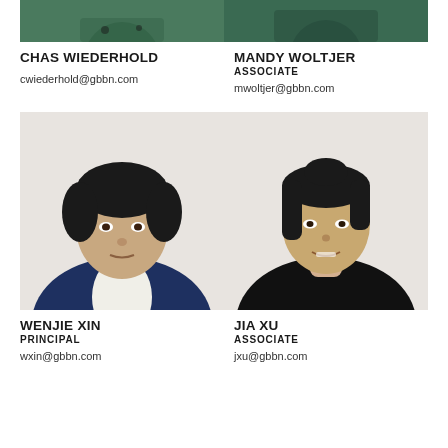[Figure (photo): Partial photo of Chas Wiederhold (top cropped), person in dark teal shirt]
[Figure (photo): Partial photo of Mandy Woltjer (top cropped), person in dark teal top]
CHAS WIEDERHOLD
MANDY WOLTJER
ASSOCIATE
cwiederhold@gbbn.com
mwoltjer@gbbn.com
[Figure (photo): Professional headshot of Wenjie Xin, Asian man in navy cardigan over white shirt]
[Figure (photo): Professional headshot of Jia Xu, Asian woman in black top with hair pulled back]
WENJIE XIN
PRINCIPAL
JIA XU
ASSOCIATE
wxin@gbbn.com
jxu@gbbn.com